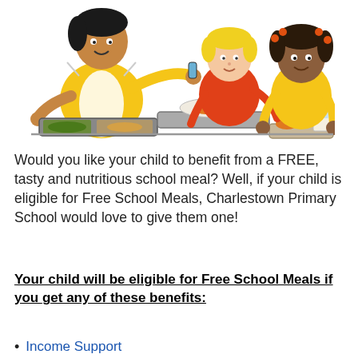[Figure (illustration): Cartoon clipart illustration of a school cafeteria worker in yellow clothes serving lunch trays to two children — a blonde boy in red/orange and a dark-skinned girl in yellow — sitting at a table with food trays and a milk carton.]
Would you like your child to benefit from a FREE, tasty and nutritious school meal? Well, if your child is eligible for Free School Meals, Charlestown Primary School would love to give them one!
Your child will be eligible for Free School Meals if you get any of these benefits:
Income Support